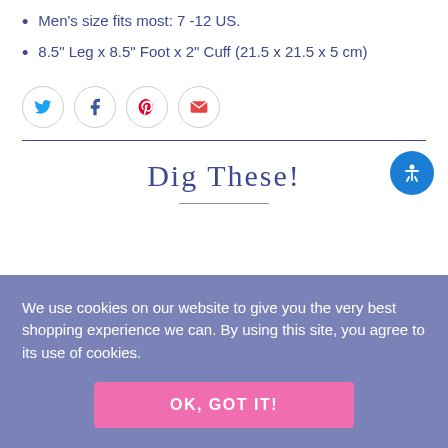Men's size fits most: 7 -12 US.
8.5" Leg x 8.5" Foot x  2" Cuff (21.5 x 21.5 x 5 cm)
[Figure (other): Social share icons: Twitter (blue bird), Facebook (f), Pinterest (P), Email (envelope)]
Dig These!
We use cookies on our website to give you the very best shopping experience we can. By using this site, you agree to its use of cookies.
OK, GOT IT!